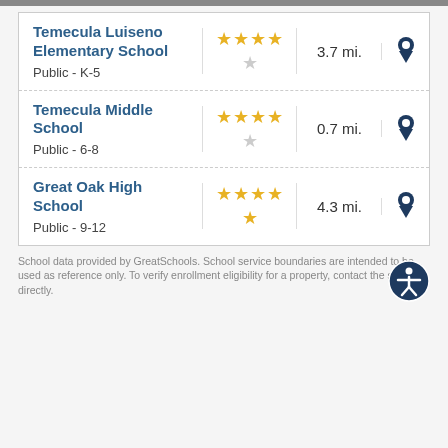| School | Rating | Distance | Map |
| --- | --- | --- | --- |
| Temecula Luiseno Elementary School
Public - K-5 | 4 stars (out of 5) | 3.7 mi. | 📍 |
| Temecula Middle School
Public - 6-8 | 4 stars (out of 5) | 0.7 mi. | 📍 |
| Great Oak High School
Public - 9-12 | 4.5 stars (out of 5) | 4.3 mi. | 📍 |
School data provided by GreatSchools. School service boundaries are intended to be used as reference only. To verify enrollment eligibility for a property, contact the school directly.